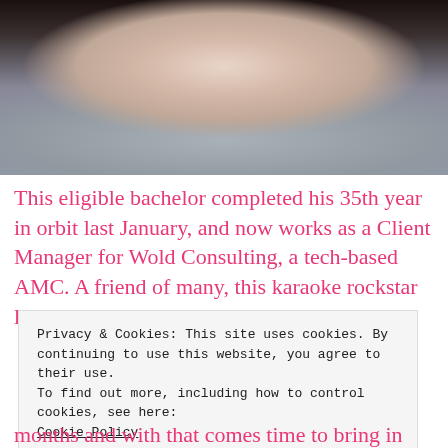[Figure (photo): Close-up photo of a young man wearing a light blue/grey V-neck knit shirt, smiling, with dark background]
This eligible bachelor completed his 35th year in orbit last January, and now works as a Client Manager for Wold Consulting, a tech-based AMC. A friend of many, this karaoke rockstar loves to
Privacy & Cookies: This site uses cookies. By continuing to use this website, you agree to their use.
To find out more, including how to control cookies, see here:
Cookie Policy
Close and accept
months and with that comes time to bring in